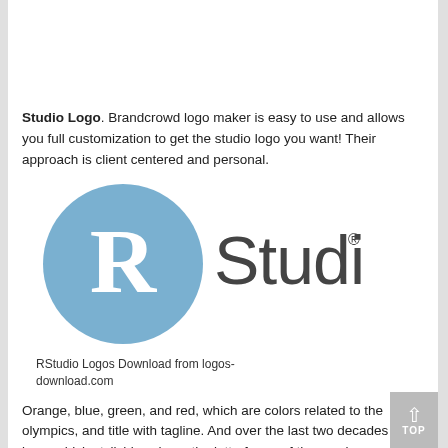Studio Logo. Brandcrowd logo maker is easy to use and allows you full customization to get the studio logo you want! Their approach is client centered and personal.
[Figure (logo): RStudio logo featuring a blue circle with a white letter R and the word 'Studio' in dark gray with a registered trademark symbol]
RStudio Logos Download from logos-download.com
Orange, blue, green, and red, which are colors related to the olympics, and title with tagline. And over the last two decades their logo, which stylishly echoes the letterforms of the word